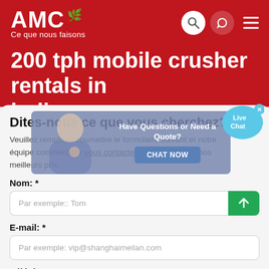AMC — Ce que nous faisons
200 tph mobile crusher rentals in india
Dites-nous ce que vous cherchez?
Veuillez remplir et soumettre le formulaire suivant et notre équipe commerciale vous contactera sous peu avec nos meilleurs prix.
Nom: *
Par exemple:: Tom
E-mail: *
Par exemple: vip@shanghaimeilan.com
Téléphoner: *